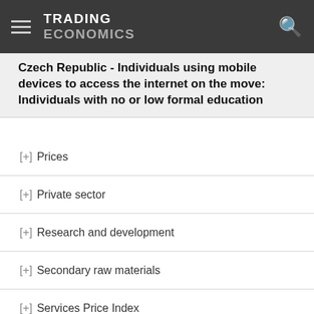TRADING ECONOMICS
Czech Republic - Individuals using mobile devices to access the internet on the move: Individuals with no or low formal education
[+] Prices
[+] Private sector
[+] Research and development
[+] Secondary raw materials
[+] Services Price Index
[+] Social Indicators
[+] Sustainable development indicators
[+] Tourism